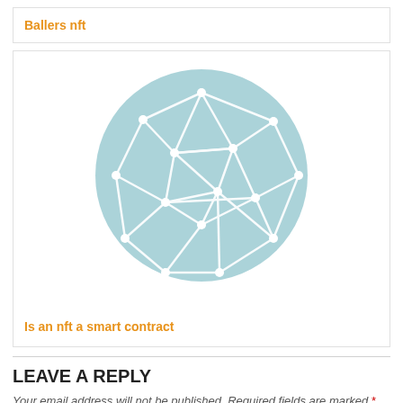Ballers nft
[Figure (illustration): A light teal circular background with a white wireframe network/mesh sphere illustration in the center, representing a smart contract or blockchain network concept.]
Is an nft a smart contract
LEAVE A REPLY
Your email address will not be published. Required fields are marked *
Comment *